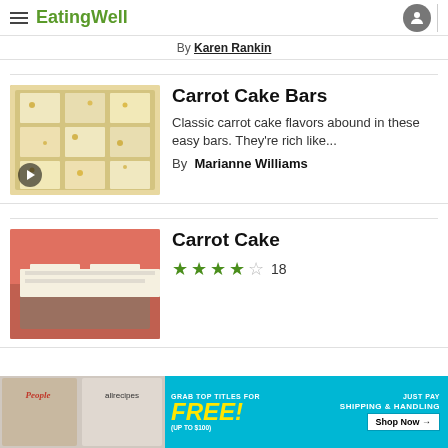EatingWell
By Karen Rankin
Carrot Cake Bars
Classic carrot cake flavors abound in these easy bars. They're rich like...
By Marianne Williams
Carrot Cake
★★★★☆ 18
[Figure (photo): Advertisement banner with People and allrecipes magazines, FREE offer, GRAB TOP TITLES FOR FREE (UP TO $100), JUST PAY SHIPPING & HANDLING, Shop Now button]